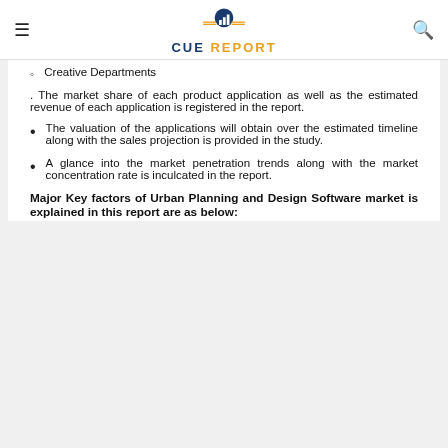CUE REPORT
Creative Departments
. The market share of each product application as well as the estimated revenue of each application is registered in the report.
The valuation of the applications will obtain over the estimated timeline along with the sales projection is provided in the study.
A glance into the market penetration trends along with the market concentration rate is inculcated in the report.
Major Key factors of Urban Planning and Design Software market is explained in this report are as below: